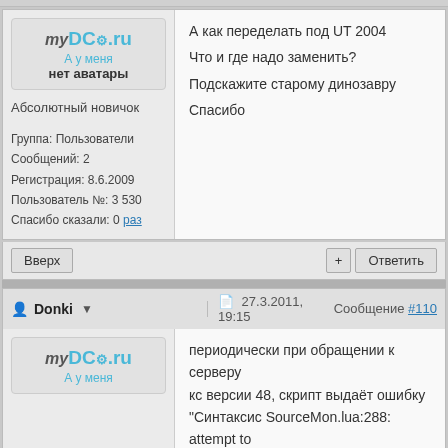[Figure (illustration): myDC.ru logo placeholder — 'А у меня нет аватары' (no avatar image)]
Абсолютный новичок
Группа: Пользователи
Сообщений: 2
Регистрация: 8.6.2009
Пользователь №: 3 530
Спасибо сказали: 0 раз
А как переделать под UT 2004
Что и где надо заменить?
Подскажите старому динозавру
Спасибо
Вверх
+ Ответить
Donki  27.3.2011, 19:15  Сообщение #110
[Figure (illustration): myDC.ru logo placeholder — 'А у меня' (no avatar image, partial)]
периодически при обращении к серверу
кс версии 48, скрипт выдаёт ошибку
"Синтаксис SourceMon.lua:288: attempt to